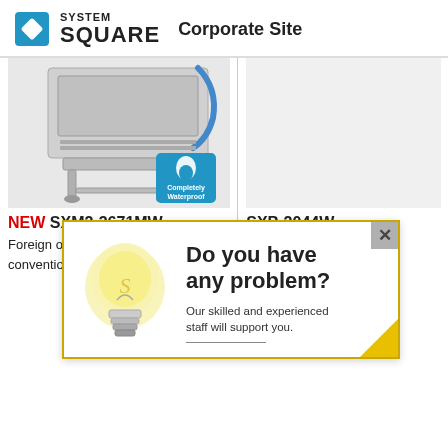SYSTEM SQUARE Corporate Site
[Figure (photo): Industrial machine (SXM2-3671MW) with stainless steel body on stand, with 'Completely Waterproof' badge]
NEW SXM2-3671MW
Foreign objects undetectable by the convention
SXP-2044W
Energy saving and
[Figure (infographic): Popup dialog with light bulb image. Text: 'Do you have any problem? Our skilled and experienced staff will support you.' with close button and yellow triangle decoration]
acking epos c. Ap industrial and co